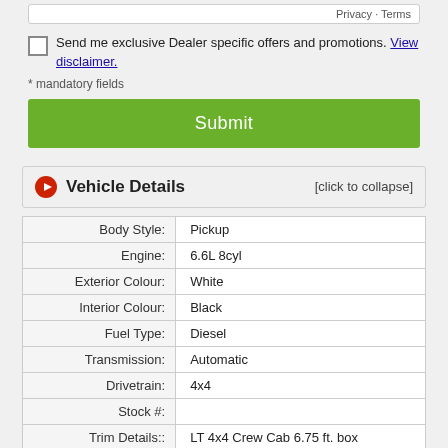Privacy · Terms
Send me exclusive Dealer specific offers and promotions. View disclaimer.
* mandatory fields
Submit
Vehicle Details [click to collapse]
|  |  |
| --- | --- |
| Body Style: | Pickup |
| Engine: | 6.6L 8cyl |
| Exterior Colour: | White |
| Interior Colour: | Black |
| Fuel Type: | Diesel |
| Transmission: | Automatic |
| Drivetrain: | 4x4 |
| Stock #: |  |
| Trim Details:: | LT 4x4 Crew Cab 6.75 ft. box |